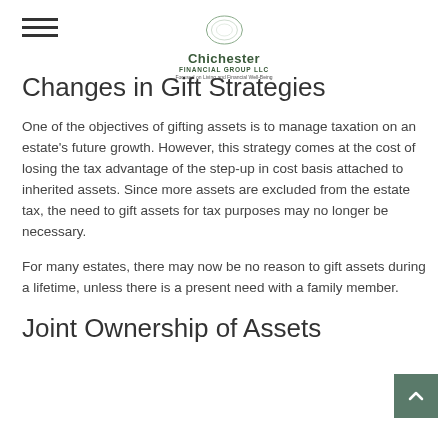Chichester Financial Group LLC — Focused on Living and Financial Well-Being
Changes in Gift Strategies
One of the objectives of gifting assets is to manage taxation on an estate's future growth. However, this strategy comes at the cost of losing the tax advantage of the step-up in cost basis attached to inherited assets. Since more assets are excluded from the estate tax, the need to gift assets for tax purposes may no longer be necessary.
For many estates, there may now be no reason to gift assets during a lifetime, unless there is a present need with a family member.
Joint Ownership of Assets